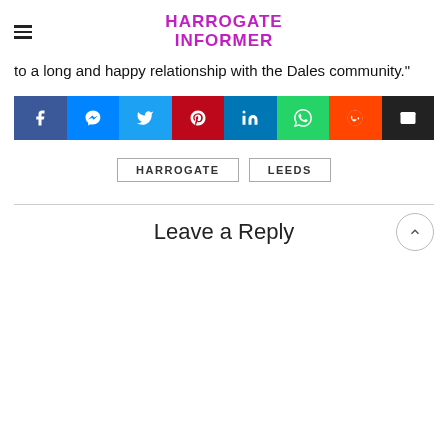HARROGATE INFORMER
to a long and happy relationship with the Dales community."
[Figure (other): Social share buttons row: Facebook (dark blue), Messenger (blue), Twitter (light blue), Pinterest (red), LinkedIn (teal-blue), WhatsApp (teal-green), Reddit (orange), Email (black)]
HARROGATE
LEEDS
Leave a Reply